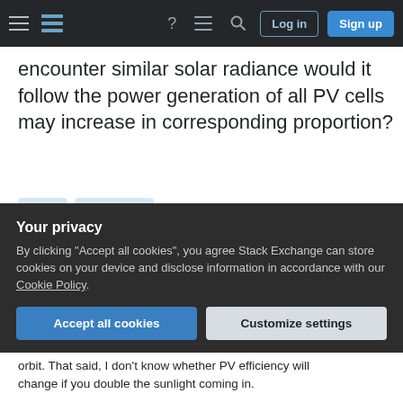[Figure (screenshot): Stack Exchange navigation bar with hamburger menu, logo, icons, Log in and Sign up buttons on dark background]
encounter similar solar radiance would it follow the power generation of all PV cells may increase in corresponding proportion?
venus
solar-power
Share
Improve this question
Follow
edited Apr 13, 2017 at 12:40
Community Bot 1
asked Sep 23, 2013 at 20:19
Evarvone
Your privacy
By clicking "Accept all cookies", you agree Stack Exchange can store cookies on your device and disclose information in accordance with our Cookie Policy.
Accept all cookies
Customize settings
orbit. That said, I don't know whether PV efficiency will change if you double the sunlight coming in.